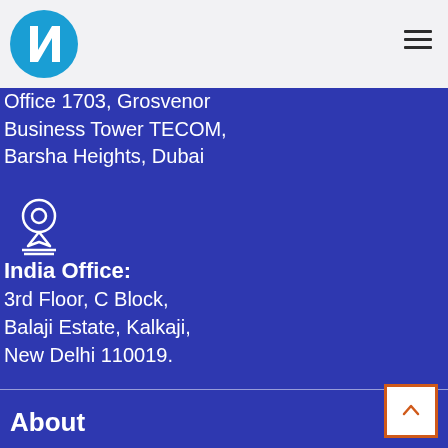[Figure (logo): NQ / NovoQuest circular logo in blue and white]
Middle HQ:
Office 1703, Grosvenor Business Tower TECOM, Barsha Heights, Dubai
[Figure (illustration): Location pin icon in white outline]
India Office:
3rd Floor, C Block,
Balaji Estate, Kalkaji,
New Delhi 110019.
About